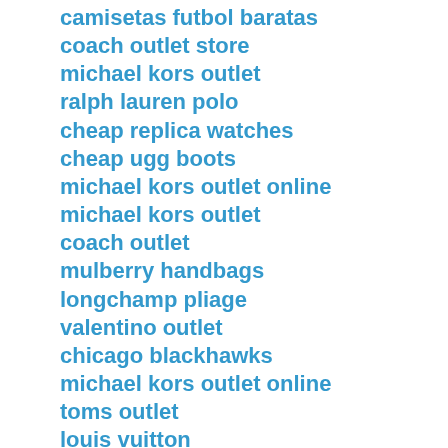camisetas futbol baratas
coach outlet store
michael kors outlet
ralph lauren polo
cheap replica watches
cheap ugg boots
michael kors outlet online
michael kors outlet
coach outlet
mulberry handbags
longchamp pliage
valentino outlet
chicago blackhawks
michael kors outlet online
toms outlet
louis vuitton
coach outlet online
longchamp outlet
michael kors outlet clearance
louis vuitton bags
oakley sunglasses
ugg boots on sale
coach outlet